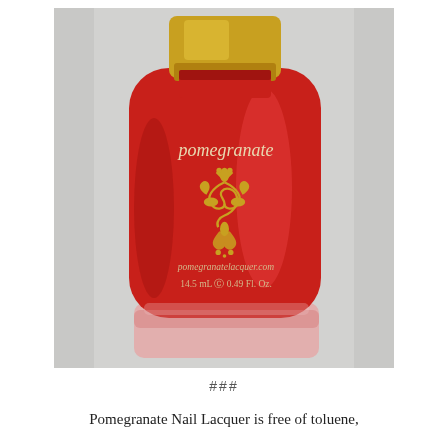[Figure (photo): A red nail polish bottle labeled 'pomegranate' with a gold decorative damask logo, gold cap, and text reading 'pomegranatelacquer.com' and '14.5 mL e 0.49 Fl. Oz.' on a gray/white fabric background.]
###
Pomegranate Nail Lacquer is free of toluene,